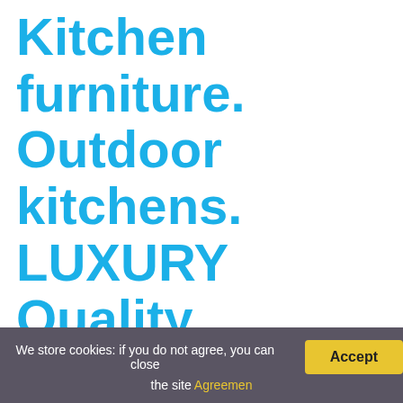Kitchen furniture. Outdoor kitchens. LUXURY Quality
If you are painting the cupboards in your kitchen and consider eggshell paint. Provided you sand the cupboards will provide a good quality finish to your cupboards. App
You might be interested: Question: How T
Which is better matte or satin?
Satin finishes reflect light more easily than matte finish
We store cookies: if you do not agree, you can close the site Agreemen